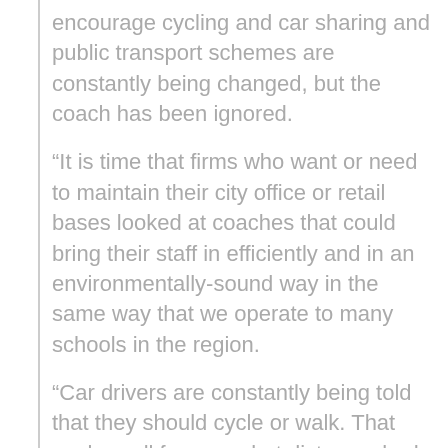encourage cycling and car sharing and public transport schemes are constantly being changed, but the coach has been ignored.
“It is time that firms who want or need to maintain their city office or retail bases looked at coaches that could bring their staff in efficiently and in an environmentally-sound way in the same way that we operate to many schools in the region.
“Car drivers are constantly being told that they should cycle or walk. That works well for some but distance, bad weather and disability rules it out for others. Public transport is also difficult for some because